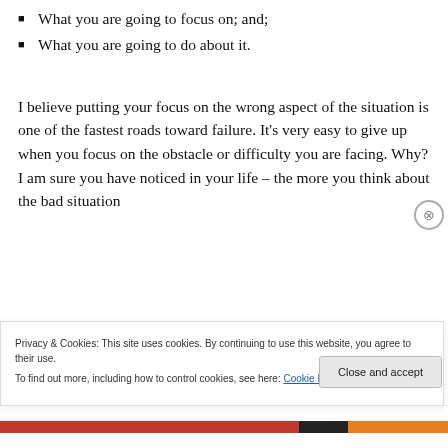What you are going to focus on; and;
What you are going to do about it.
I believe putting your focus on the wrong aspect of the situation is one of the fastest roads toward failure. It's very easy to give up when you focus on the obstacle or difficulty you are facing. Why? I am sure you have noticed in your life – the more you think about the bad situation
Privacy & Cookies: This site uses cookies. By continuing to use this website, you agree to their use.
To find out more, including how to control cookies, see here: Cookie Policy
Close and accept